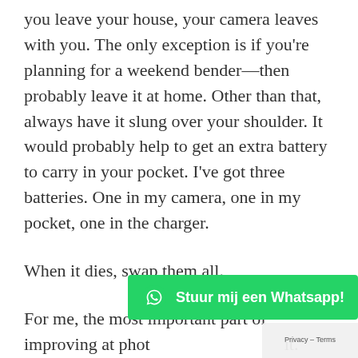you leave your house, your camera leaves with you. The only exception is if you're planning for a weekend bender—then probably leave it at home. Other than that, always have it slung over your shoulder. It would probably help to get an extra battery to carry in your pocket. I've got three batteries. One in my camera, one in my pocket, one in the charger.
When it dies, swap them all.
For me, the most important part of improving at phot[...] it. Sign up for an Exposure account, or post